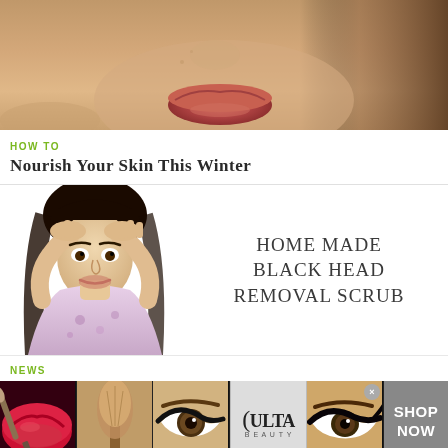[Figure (photo): Close-up of a woman's lower face and lips with skin visible, hair to the right side]
HOW TO
Nourish Your Skin This Winter
[Figure (infographic): Woman with hands on head looking stressed on the left; text on right reads HOME MADE BLACK HEAD REMOVAL SCRUB]
NEWS
[Figure (photo): Advertisement banner with beauty images: red lips with brush, makeup brush, eye with liner, Ulta Beauty logo, eye with liner, and SHOP NOW button]